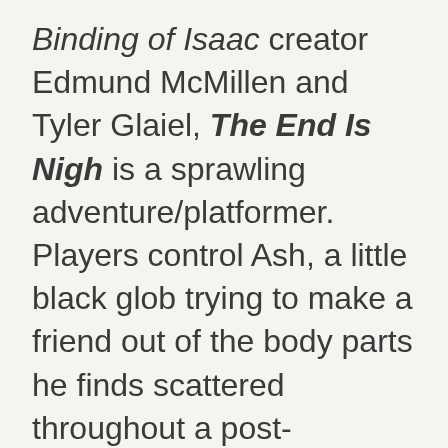Binding of Isaac creator Edmund McMillen and Tyler Glaiel, The End Is Nigh is a sprawling adventure/platformer. Players control Ash, a little black glob trying to make a friend out of the body parts he finds scattered throughout a post-apocalyptic world. As Ash leaps his way through a never-ending onslaught of decaying, mutant creatures, he can collect assorted tumors and hidden video-game cartridges that unlock fully playable